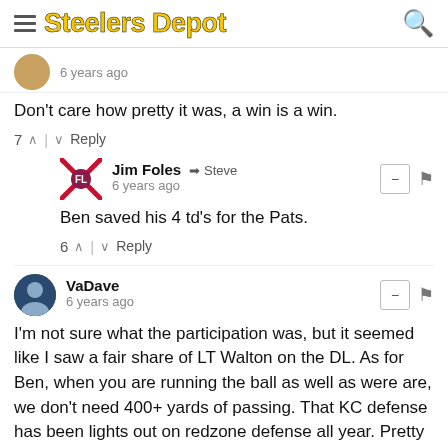Steelers Depot
6 years ago
Don't care how pretty it was, a win is a win.
7  |  Reply
Jim Foles → Steve
6 years ago
Ben saved his 4 td's for the Pats.
6  |  Reply
VaDave
6 years ago
I'm not sure what the participation was, but it seemed like I saw a fair share of LT Walton on the DL. As for Ben, when you are running the ball as well as were are, we don't need 400+ yards of passing. That KC defense has been lights out on redzone defense all year. Pretty much the game plan we had, and usually is, we will take what you give us. KC took the long bomb away, their linebackers only dropped 10 yards off the LOS because of our rushing attack ( futile) and left a lot of